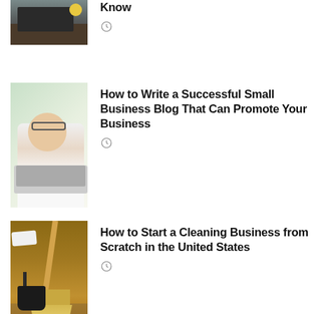[Figure (photo): Person typing on a laptop keyboard, viewed from above, with items on a wooden desk]
Know
[Figure (other): Clock icon]
[Figure (photo): Smiling woman wearing glasses working on a laptop in a bright office setting]
How to Write a Successful Small Business Blog That Can Promote Your Business
[Figure (other): Clock icon]
[Figure (photo): Broom and dustpan on a wooden floor, cleaning supplies]
How to Start a Cleaning Business from Scratch in the United States
[Figure (other): Clock icon]
How to Start Your Own Dog Walking Business from Home in the US
[Figure (other): Clock icon]